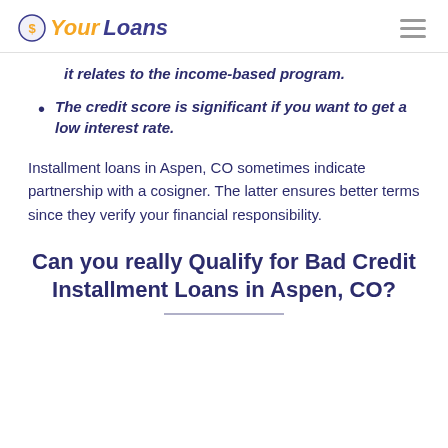YourLoans
it relates to the income-based program.
The credit score is significant if you want to get a low interest rate.
Installment loans in Aspen, CO sometimes indicate partnership with a cosigner. The latter ensures better terms since they verify your financial responsibility.
Can you really Qualify for Bad Credit Installment Loans in Aspen, CO?